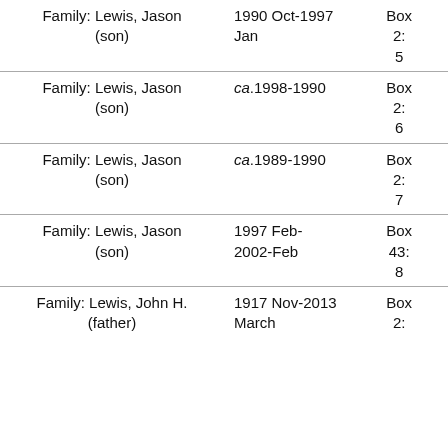| Subject/Family | Date | Box |
| --- | --- | --- |
| Family: Lewis, Jason (son) | 1990 Oct-1997 Jan | Box 2: 5 |
| Family: Lewis, Jason (son) | ca.1998-1990 | Box 2: 6 |
| Family: Lewis, Jason (son) | ca.1989-1990 | Box 2: 7 |
| Family: Lewis, Jason (son) | 1997 Feb-2002-Feb | Box 43: 8 |
| Family: Lewis, John H. (father) | 1917 Nov-2013 March | Box 2: |